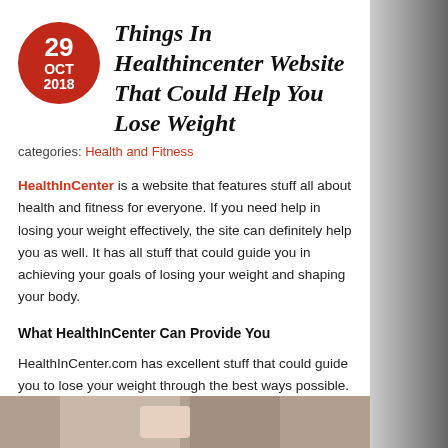Things In Healthincenter Website That Could Help You Lose Weight
categories: Health and Fitness
HealthInCenter is a website that features stuff all about health and fitness for everyone. If you need help in losing your weight effectively, the site can definitely help you as well. It has all stuff that could guide you in achieving your goals of losing your weight and shaping your body.
What HealthInCenter Can Provide You
HealthInCenter.com has excellent stuff that could guide you to lose your weight through the best ways possible. Some of these stuff are:
[Figure (photo): Partial image visible at the bottom of the page, appears to show food or body-related health content]